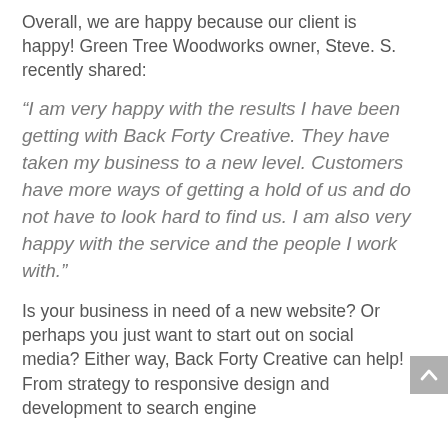Overall, we are happy because our client is happy! Green Tree Woodworks owner, Steve. S. recently shared:
“I am very happy with the results I have been getting with Back Forty Creative. They have taken my business to a new level. Customers have more ways of getting a hold of us and do not have to look hard to find us. I am also very happy with the service and the people I work with.”
Is your business in need of a new website? Or perhaps you just want to start out on social media? Either way, Back Forty Creative can help! From strategy to responsive design and development to search engine